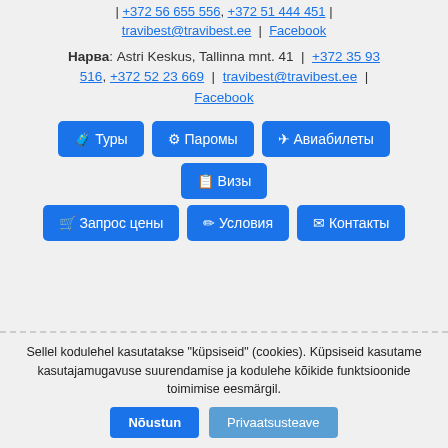travibest@travibest.ee | Facebook
Нарва: Astri Keskus, Tallinna mnt. 41 | +372 35 93 516, +372 52 23 669 | travibest@travibest.ee | Facebook
Туры
Паромы
Авиабилеты
Визы
Запрос цены
Условия
Контакты
Sellel kodulehel kasutatakse "küpsiseid" (cookies). Küpsiseid kasutame kasutajamugavuse suurendamise ja kodulehe kõikide funktsioonide toimimise eesmärgil.
Nõustun | Privaatsusteave